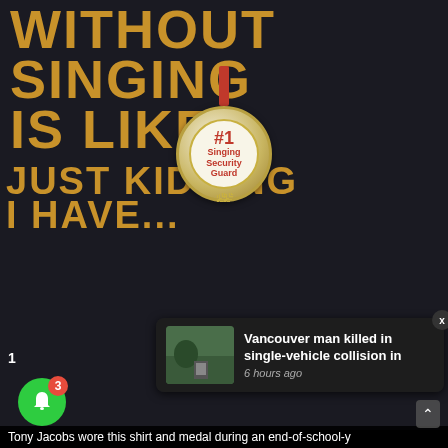[Figure (photo): Photo of a dark navy/black t-shirt with gold lettering reading 'WITHOUT SINGING IS LIKE... JUST KIDDING I HAVE...' with a gold medal hanging on the shirt reading '#1 Singing Security Guard']
Vancouver man killed in single-vehicle collision in
6 hours ago
Tony Jacobs wore this shirt and medal during an end-of-school-y